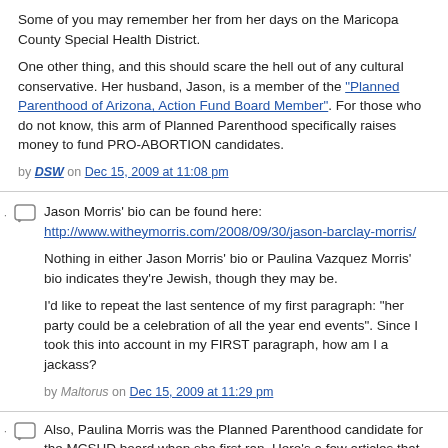Some of you may remember her from her days on the Maricopa County Special Health District.
One other thing, and this should scare the hell out of any cultural conservative. Her husband, Jason, is a member of the "Planned Parenthood of Arizona, Action Fund Board Member". For those who do not know, this arm of Planned Parenthood specifically raises money to fund PRO-ABORTION candidates.
by DSW on Dec 15, 2009 at 11:08 pm
Jason Morris' bio can be found here: http://www.witheymorris.com/2008/09/30/jason-barclay-morris/
Nothing in either Jason Morris' bio or Paulina Vazquez Morris' bio indicates they're Jewish, though they may be.
I'd like to repeat the last sentence of my first paragraph: "her party could be a celebration of all the year end events". Since I took this into account in my FIRST paragraph, how am I a jackass?
by Maltorus on Dec 15, 2009 at 11:29 pm
Also, Paulina Morris was the Planned Parenthood candidate for the MCSHD board when she first ran. Here's a few articles that came out regarding her ties to the largest abortion provider in Arizona:
Cathi Herrod, director of policy for the Center for Arizona Policy (CAP), said her organization has surveyed candidates for the brand new Maricopa